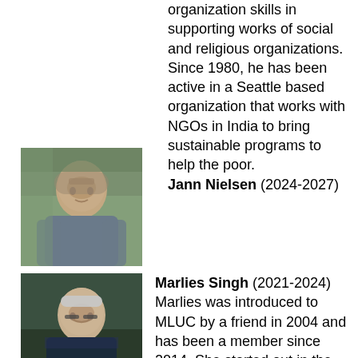organization skills in supporting works of social and religious organizations. Since 1980, he has been active in a Seattle based organization that works with NGOs in India to bring sustainable programs to help the poor. Jann Nielsen (2024-2027)
[Figure (photo): Portrait photo of Jann Nielsen, a man with light skin and a beard, outdoors with green foliage in background]
[Figure (photo): Portrait photo of Marlies Singh, a woman with short gray hair and glasses, smiling, wearing a dark patterned top]
Marlies Singh (2021-2024) Marlies was introduced to MLUC by a friend in 2004 and has been a member since 2014. She started out in the church school program where she taught for 3 years while working as the MLUC Accountant. Later she became a member of the Finance, Audit, and Legacy and Endowment Committees, finding it refreshing to see how our seven principles reshape everything, even rather dry financial matters.